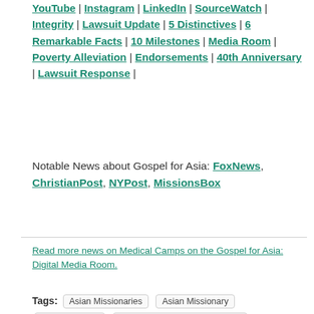YouTube | Instagram | LinkedIn | SourceWatch | Integrity | Lawsuit Update | 5 Distinctives | 6 Remarkable Facts | 10 Milestones | Media Room | Poverty Alleviation | Endorsements | 40th Anniversary | Lawsuit Response |
Notable News about Gospel for Asia: FoxNews, ChristianPost, NYPost, MissionsBox
Read more news on Medical Camps on the Gospel for Asia: Digital Media Room.
Tags: Asian Missionaries  Asian Missionary  Bridge of Hope  GFA-Supported Bridge of Hope  GFA-Supported Missionaries  GFA-supported Pastors  GFA-Supported Workers  Gospel for Asia-Supported Medical Camps